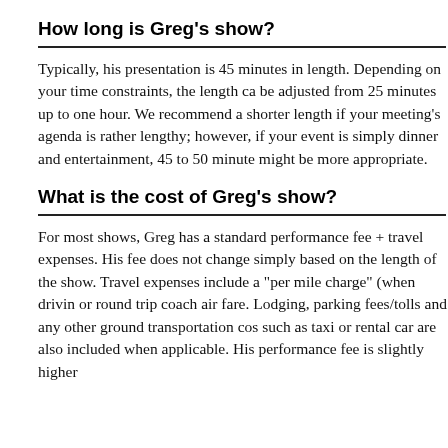How long is Greg's show?
Typically, his presentation is 45 minutes in length. Depending on your time constraints, the length can be adjusted from 25 minutes up to one hour. We recommend a shorter length if your meeting's agenda is rather lengthy; however, if your event is simply dinner and entertainment, 45 to 50 minutes might be more appropriate.
What is the cost of Greg's show?
For most shows, Greg has a standard performance fee + travel expenses. His fee does not change simply based on the length of the show. Travel expenses include a "per mile charge" (when driving) or round trip coach air fare. Lodging, parking fees/tolls and any other ground transportation costs such as taxi or rental car are also included when applicable. His performance fee is slightly higher